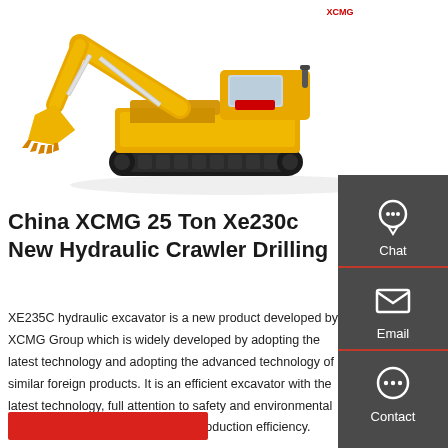[Figure (photo): Yellow XCMG hydraulic crawler excavator (model XE235C/Xe230c) shown from the side on a white background, with large arm/bucket extended to the left and cab visible on the right.]
China XCMG 25 Ton Xe230c New Hydraulic Crawler Drilling
XE235C hydraulic excavator is a new product developed by XCMG Group which is widely developed by adopting the latest technology and adopting the advanced technology of similar foreign products. It is an efficient excavator with the latest technology, full attention to safety and environmental performance, and extremely high production efficiency.